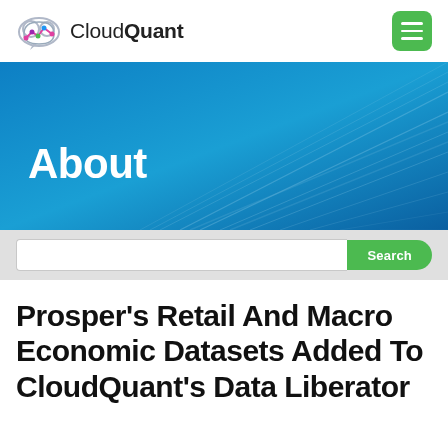CloudQuant
[Figure (illustration): CloudQuant logo with cloud and graph icon]
[Figure (illustration): Blue gradient hero banner with decorative ray lines and 'About' text overlay]
Search
Prosper's Retail And Macro Economic Datasets Added To CloudQuant's Data Liberator